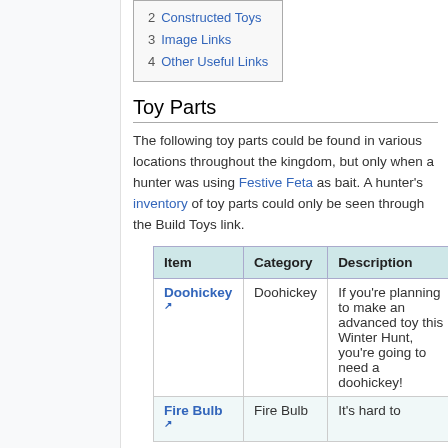2 Constructed Toys
3 Image Links
4 Other Useful Links
Toy Parts
The following toy parts could be found in various locations throughout the kingdom, but only when a hunter was using Festive Feta as bait. A hunter's inventory of toy parts could only be seen through the Build Toys link.
| Item | Category | Description |
| --- | --- | --- |
| Doohickey ↗ | Doohickey | If you're planning to make an advanced toy this Winter Hunt, you're going to need a doohickey! |
| Fire Bulb ↗ | Fire Bulb | It's hard to |